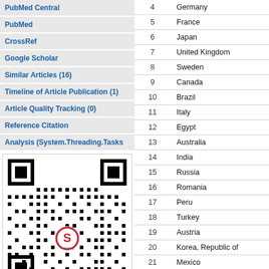PubMed Central
PubMed
CrossRef
Google Scholar
Similar Articles (16)
Timeline of Article Publication (1)
Article Quality Tracking (0)
Reference Citation
Analysis (System.Threading.Tasks
[Figure (other): QR code with a logo in the center]
| # | Country |
| --- | --- |
| 4 | Germany |
| 5 | France |
| 6 | Japan |
| 7 | United Kingdom |
| 8 | Sweden |
| 9 | Canada |
| 10 | Brazil |
| 11 | Italy |
| 12 | Egypt |
| 13 | Australia |
| 14 | India |
| 15 | Russia |
| 16 | Romania |
| 17 | Peru |
| 18 | Turkey |
| 19 | Austria |
| 20 | Korea, Republic of |
| 21 | Mexico |
| 22 | Nigeria |